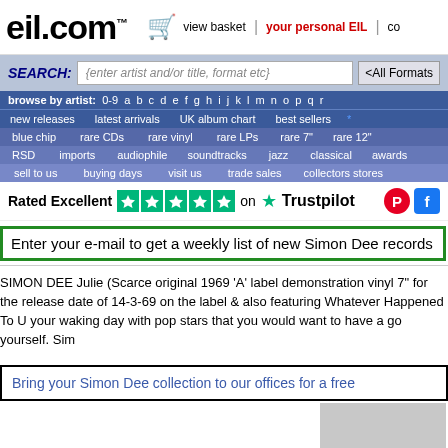eil.com™ — view basket | your personal EIL | co
SEARCH: {enter artist and/or title, format etc} <All Formats>
browse by artist: 0-9 a b c d e f g h i j k l m n o p q r
new releases | latest arrivals | UK album chart | best sellers
blue chip | rare CDs | rare vinyl | rare LPs | rare 7" | rare 12"
RSD | imports | audiophile | soundtracks | jazz | classical | awards
sell to us | buying days | visit us | trade sales | collectors stores
Rated Excellent ★★★★★ on ★ Trustpilot
Enter your e-mail to get a weekly list of new Simon Dee records
SIMON DEE Julie (Scarce original 1969 'A' label demonstration vinyl 7" for the release date of 14-3-69 on the label & also featuring Whatever Happened To U your waking day with pop stars that you would want to have a go yourself. Sim
Bring your Simon Dee collection to our offices for a free
[Figure (photo): Product image placeholder showing a grey/light area]